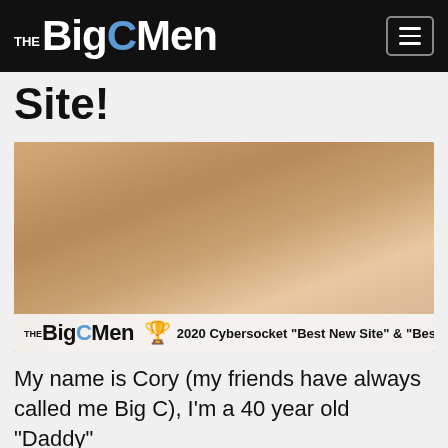THE BigCMen
Site!
[Figure (photo): Adult content photo with BigCMen logo overlay showing '2020 Cybersocket Best New Site & Best Site' award]
My name is Cory (my friends have always called me Big C), I'm a 40 year old "Daddy"